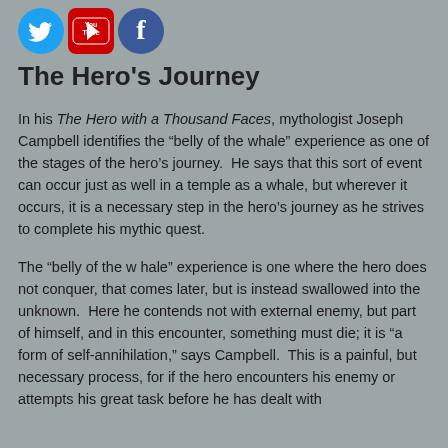[Figure (logo): Three social media icons: Twitter (blue bird), YouTube (red/white), and Facebook (blue f)]
The Hero's Journey
In his The Hero with a Thousand Faces, mythologist Joseph Campbell identifies the “belly of the whale” experience as one of the stages of the hero’s journey. He says that this sort of event can occur just as well in a temple as a whale, but wherever it occurs, it is a necessary step in the hero’s journey as he strives to complete his mythic quest.
The “belly of the w hale” experience is one where the hero does not conquer, that comes later, but is instead swallowed into the unknown. Here he contends not with external enemy, but part of himself, and in this encounter, something must die; it is “a form of self-annihilation,” says Campbell. This is a painful, but necessary process, for if the hero encounters his enemy or attempts his great task before he has dealt with